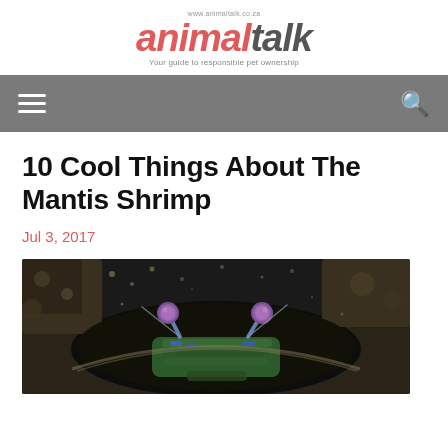animaltalk — www.animaltalk.co.za — Your guide to responsible pet ownership
10 Cool Things About The Mantis Shrimp
Jul 3, 2017
[Figure (photo): Close-up underwater photograph of a mantis shrimp peeking out from a rocky burrow, showing its distinctive colorful eyes (purple/pink stalked eyes) and colorful body with blue and green hues against a dark background]